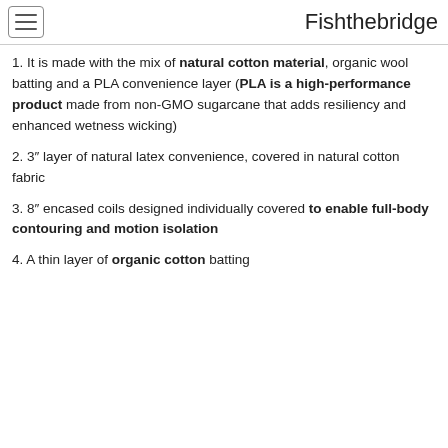Fishthebridge
1. It is made with the mix of natural cotton material, organic wool batting and a PLA convenience layer (PLA is a high-performance product made from non-GMO sugarcane that adds resiliency and enhanced wetness wicking)
2. 3" layer of natural latex convenience, covered in natural cotton fabric
3. 8" encased coils designed individually covered to enable full-body contouring and motion isolation
4. A thin layer of organic cotton batting